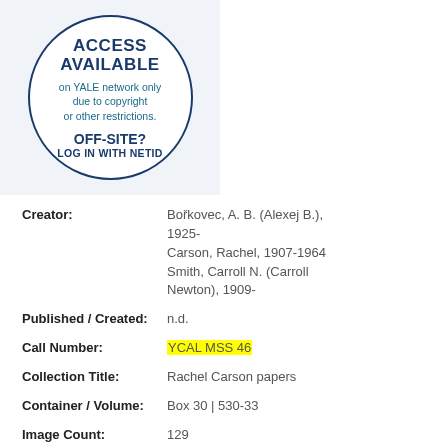[Figure (illustration): Circular badge with dark blue border on light gray background. Text reads: ACCESS AVAILABLE on YALE network only due to copyright or other restrictions. OFF-SITE? LOG IN WITH NETID]
Creator: Bořkovec, A. B. (Alexej B.), 1925-
Carson, Rachel, 1907-1964
Smith, Carroll N. (Carroll Newton), 1909-
Published / Created: n.d.
Call Number: YCAL MSS 46
Collection Title: Rachel Carson papers
Container / Volume: Box 30 | 530-33
Image Count: 129